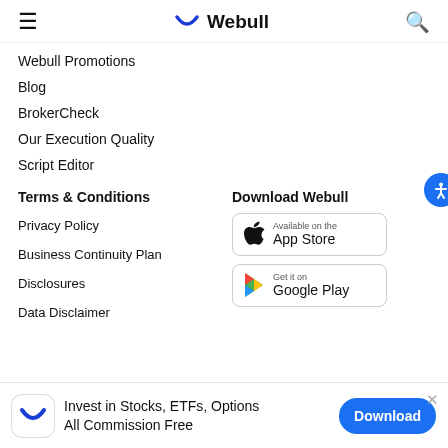Webull
Webull Promotions
Blog
BrokerCheck
Our Execution Quality
Script Editor
Terms & Conditions
Privacy Policy
Business Continuity Plan
Disclosures
Data Disclaimer
Download Webull
[Figure (screenshot): Available on the App Store badge]
[Figure (screenshot): Get it on Google Play badge]
Invest in Stocks, ETFs, Options All Commission Free
Download